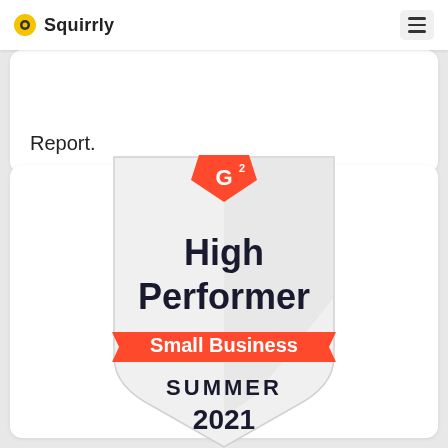Squirrly
Report.
[Figure (logo): G2 High Performer Small Business Summer 2021 badge/award shield]